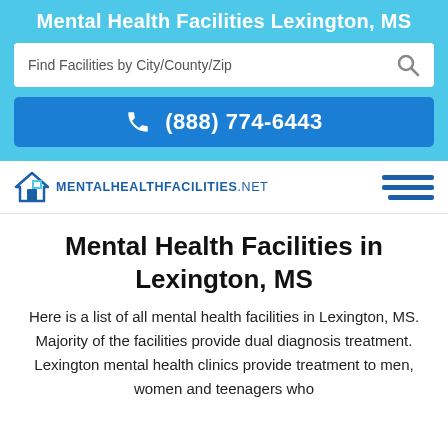Mental Health Facilities Lexington, MS
Find Facilities by City/County/Zip
(888) 774-6443
[Figure (logo): MentalHealthFacilities.net logo with house icon and hamburger menu]
Mental Health Facilities in Lexington, MS
Here is a list of all mental health facilities in Lexington, MS. Majority of the facilities provide dual diagnosis treatment. Lexington mental health clinics provide treatment to men, women and teenagers who